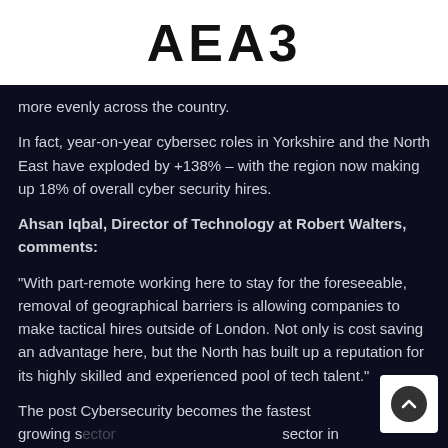AEA3
more evenly across the country.
In fact, year-on-year cybersec roles in Yorkshire and the North East have exploded by +138% – with the region now making up 18% of overall cyber security hires.
Ahsan Iqbal, Director of Technology at Robert Walters, comments:
“With part-remote working here to stay for the foreseeable, removal of geographical barriers is allowing companies to make tactical hires outside of London. Not only is cost saving an advantage here, but the North has built up a reputation for its highly skilled and experienced pool of tech talent.”
The post Cybersecurity becomes the fastest growing s... sector in UK during Covid-19 appeared first on .